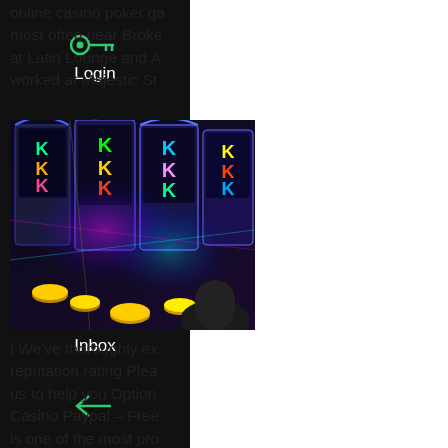[Figure (screenshot): Dark sidebar navigation with icons for Login, Dashboard, Calendar, Inbox, and a back arrow button]
online casino poker ga most often near Broke at Latin Lounge and A worked at Majestic St
[Figure (photo): Casino slot machines with bright colorful lights, coins, and game symbols (K letters visible)]
| We've thoroughly ex reputation rating Plea us to help you Option Casino Paypal – Free is one of the most pro Hub Casino Porn Vid